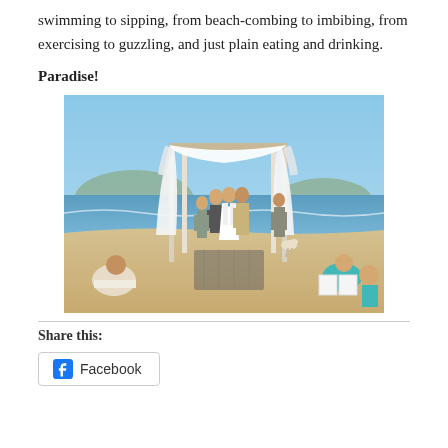swimming to sipping, from beach-combing to imbibing, from exercising to guzzling, and just plain eating and drinking.
Paradise!
[Figure (photo): Outdoor beach wedding ceremony under a white draped canopy arch on sandy beach with ocean in background. Couple standing at altar with officiant, bridesmaids/groomsmen, and seated guests watching.]
Share this:
Facebook